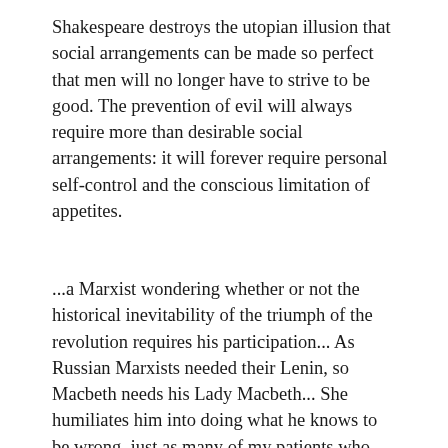Shakespeare destroys the utopian illusion that social arrangements can be made so perfect that men will no longer have to strive to be good. The prevention of evil will always require more than desirable social arrangements: it will forever require personal self-control and the conscious limitation of appetites.
...a Marxist wondering whether or not the historical inevitability of the triumph of the revolution requires his participation... As Russian Marxists needed their Lenin, so Macbeth needs his Lady Macbeth... She humiliates him into doing what he knows to be wrong, just as many of my patients who take heroin started to take it because they were afraid to seem weak in the eyes of their associates... The lesson is that any